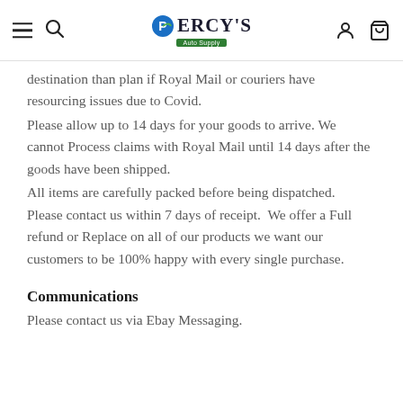Percy's
destination than plan if Royal Mail or couriers have resourcing issues due to Covid.
Please allow up to 14 days for your goods to arrive. We cannot Process claims with Royal Mail until 14 days after the goods have been shipped.
All items are carefully packed before being dispatched.  Please contact us within 7 days of receipt.  We offer a Full refund or Replace on all of our products we want our customers to be 100% happy with every single purchase.
Communications
Please contact us via Ebay Messaging.